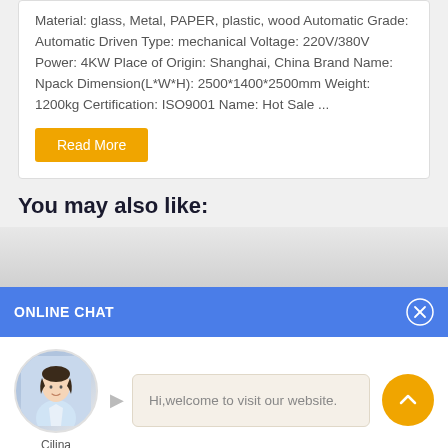Material: glass, Metal, PAPER, plastic, wood Automatic Grade: Automatic Driven Type: mechanical Voltage: 220V/380V Power: 4KW Place of Origin: Shanghai, China Brand Name: Npack Dimension(L*W*H): 2500*1400*2500mm Weight: 1200kg Certification: ISO9001 Name: Hot Sale ...
Read More
You may also like:
ONLINE CHAT
[Figure (screenshot): Online chat widget with avatar of a woman named Cilina and a chat bubble saying 'Hi,welcome to visit our website.']
Hi,welcome to visit our website.
Cilina